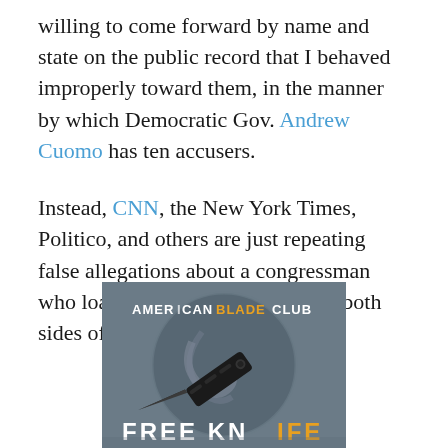willing to come forward by name and state on the public record that I behaved improperly toward them, in the manner by which Democratic Gov. Andrew Cuomo has ten accusers.
Instead, CNN, the New York Times, Politico, and others are just repeating false allegations about a congressman who loathes the swamp and fights both sides of it on a daily basis.
[Figure (photo): Advertisement image for American Blade Club showing a black folding tactical knife (Smith & Wesson) against a dark grey background with a circular logo. Text reads 'AMERICAN BLADE CLUB' at the top and 'FREE KNIFE' partially visible at the bottom in large orange/white letters.]